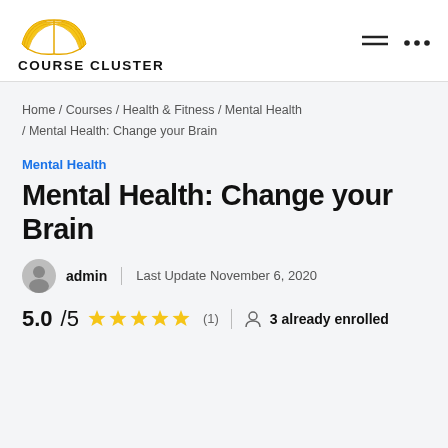[Figure (logo): Course Cluster open book logo in gold/yellow outline style, with text COURSE CLUSTER in bold black below]
Home / Courses / Health & Fitness / Mental Health / Mental Health: Change your Brain
Mental Health
Mental Health: Change your Brain
admin | Last Update November 6, 2020
5.0 /5 ★★★★★ (1) | 3 already enrolled